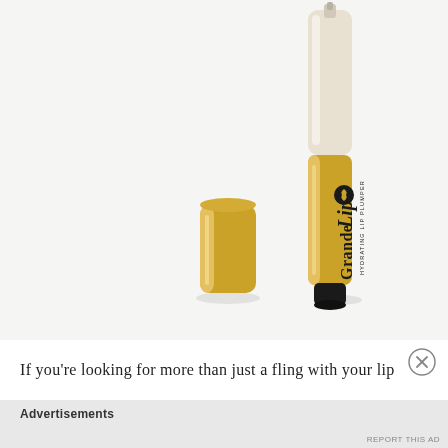[Figure (photo): Product photo of GrandeLips Hydrating Lip Plumper pen with gold barrel and clear applicator tip, shown with the gold cap removed and placed to the left of the pen, on a white/light grey background.]
If you're looking for more than just a fling with your lip
Advertisements